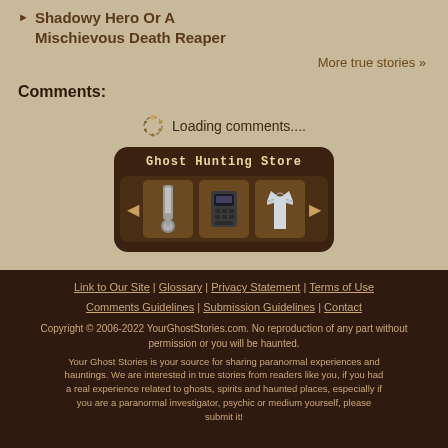Shadowy Hero Or A Mischievous Death Reaper
More true stories »
Comments:
Loading comments....
[Figure (screenshot): Ghost Hunting Store widget showing three ghost hunting items with left/right arrows]
Link to Our Site | Glossary | Privacy Statement | Terms of Use | Comments Guidelines | Submission Guidelines | Contact
Copyright © 2006-2022 YourGhostStories.com. No reproduction of any part without permission or you will be haunted.
Your Ghost Stories is your source for sharing paranormal experiences and hauntings. We are interested in true stories from readers like you, if you had a real experience related to ghosts, spirits and haunted places, especially if you are a paranormal investigator, psychic or medium yourself, please submit it!